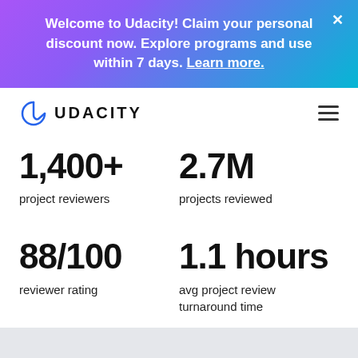Welcome to Udacity! Claim your personal discount now. Explore programs and use within 7 days. Learn more.
[Figure (logo): Udacity logo with stylized U icon and UDACITY wordmark]
1,400+ project reviewers
2.7M projects reviewed
88/100 reviewer rating
1.1 hours avg project review turnaround time